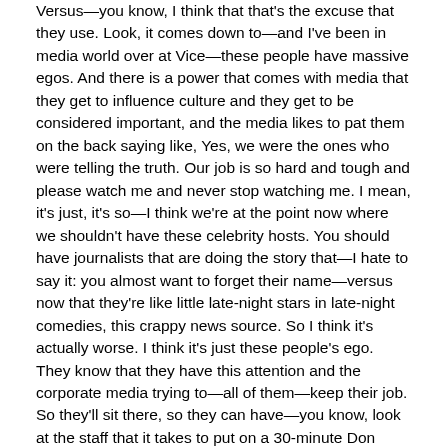Versus—you know, I think that that's the excuse that they use. Look, it comes down to—and I've been in media world over at Vice—these people have massive egos. And there is a power that comes with media that they get to influence culture and they get to be considered important, and the media likes to pat them on the back saying like, Yes, we were the ones who were telling the truth. Our job is so hard and tough and please watch me and never stop watching me. I mean, it's just, it's so—I think we're at the point now where we shouldn't have these celebrity hosts. You should have journalists that are doing the story that—I hate to say it: you almost want to forget their name—versus now that they're like little late-night stars in late-night comedies, this crappy news source. So I think it's actually worse. I think it's just these people's ego. They know that they have this attention and the corporate media trying to—all of them—keep their job. So they'll sit there, so they can have—you know, look at the staff that it takes to put on a 30-minute Don Lemon segment. Think about tons of people, all repeating the same crap, but all these people want to keep their jobs. So I think it's actually worse. It's actually more ego than it is the content. And I even launched this thing called Some Good News with a guy named John Krasinski, you know, I helped launch that. And it was all just